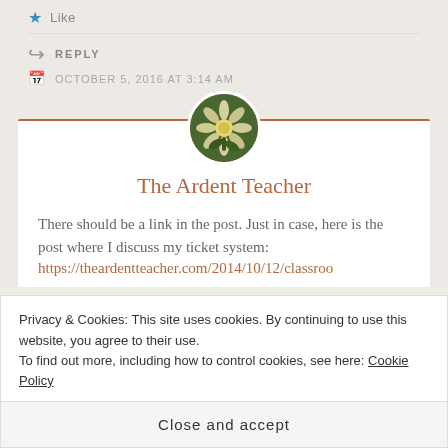Like
REPLY
OCTOBER 5, 2016 AT 3:14 AM
[Figure (photo): Circular avatar photo of a plant/flower, used as profile picture for The Ardent Teacher]
The Ardent Teacher
There should be a link in the post. Just in case, here is the post where I discuss my ticket system:
https://theardentteacher.com/2014/10/12/classroo
Privacy & Cookies: This site uses cookies. By continuing to use this website, you agree to their use.
To find out more, including how to control cookies, see here: Cookie Policy
Close and accept